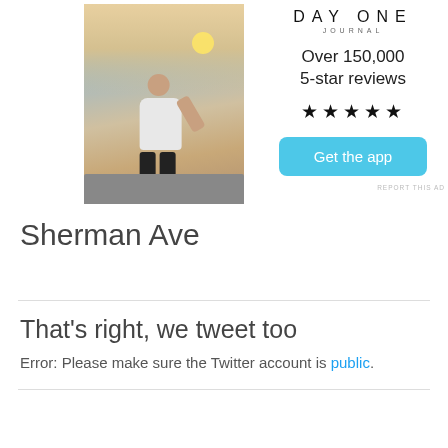[Figure (photo): Person sitting on rocks photographing a sunset with a smartphone, viewed from behind, wearing a white t-shirt]
[Figure (logo): Day One Journal logo with wordmark 'DAY ONE' and 'JOURNAL' below]
Over 150,000 5-star reviews
★★★★★
Get the app
REPORT THIS AD
Sherman Ave
That's right, we tweet too
Error: Please make sure the Twitter account is public.